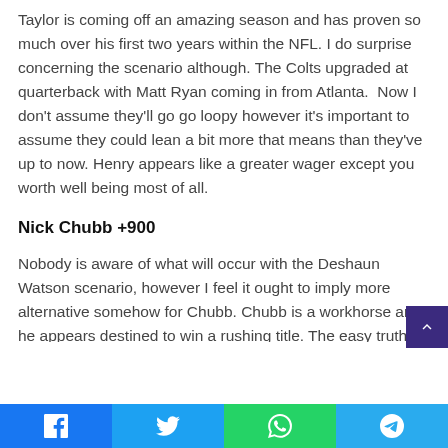Taylor is coming off an amazing season and has proven so much over his first two years within the NFL. I do surprise concerning the scenario although. The Colts upgraded at quarterback with Matt Ryan coming in from Atlanta.  Now I don't assume they'll go go loopy however it's important to assume they could lean a bit more that means than they've up to now. Henry appears like a greater wager except you worth well being most of all.
Nick Chubb +900
Nobody is aware of what will occur with the Deshaun Watson scenario, however I feel it ought to imply more alternative somehow for Chubb. Chubb is a workhorse and he appears destined to win a rushing title. The easy truth is he's
Facebook | Twitter | WhatsApp | Telegram